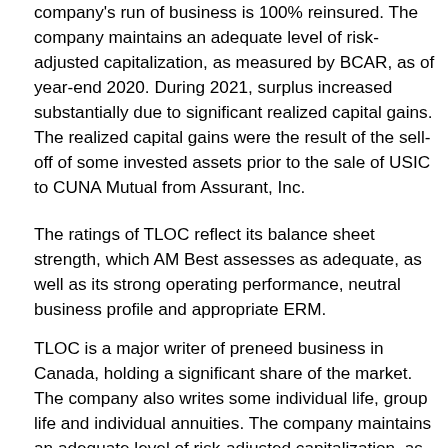company's run of business is 100% reinsured. The company maintains an adequate level of risk-adjusted capitalization, as measured by BCAR, as of year-end 2020. During 2021, surplus increased substantially due to significant realized capital gains. The realized capital gains were the result of the sell-off of some invested assets prior to the sale of USIC to CUNA Mutual from Assurant, Inc.
The ratings of TLOC reflect its balance sheet strength, which AM Best assesses as adequate, as well as its strong operating performance, neutral business profile and appropriate ERM.
TLOC is a major writer of preneed business in Canada, holding a significant share of the market. The company also writes some individual life, group life and individual annuities. The company maintains an adequate level of risk-adjusted capitalization, as measured by BCAR, although the absolute level of capital has seen stable and consistent growth over the past five years. The company